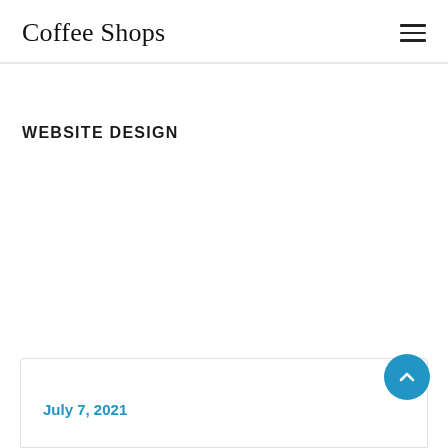Coffee Shops
WEBSITE DESIGN
July 7, 2021